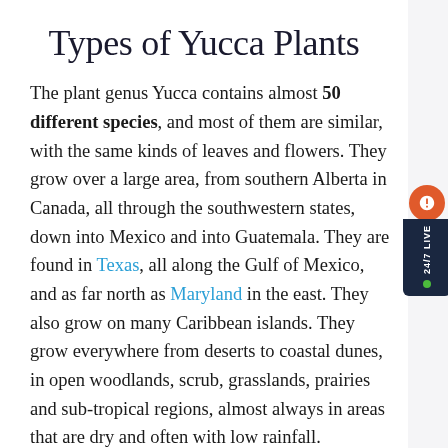Types of Yucca Plants
The plant genus Yucca contains almost 50 different species, and most of them are similar, with the same kinds of leaves and flowers. They grow over a large area, from southern Alberta in Canada, all through the southwestern states, down into Mexico and into Guatemala. They are found in Texas, all along the Gulf of Mexico, and as far north as Maryland in the east. They also grow on many Caribbean islands. They grow everywhere from deserts to coastal dunes, in open woodlands, scrub, grasslands, prairies and sub-tropical regions, almost always in areas that are dry and often with low rainfall.